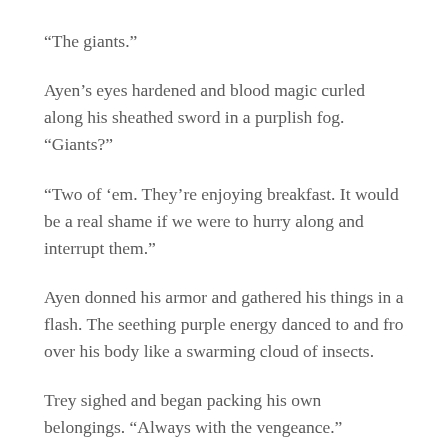“The giants.”
Ayen’s eyes hardened and blood magic curled along his sheathed sword in a purplish fog. “Giants?”
“Two of ‘em. They’re enjoying breakfast. It would be a real shame if we were to hurry along and interrupt them.”
Ayen donned his armor and gathered his things in a flash. The seething purple energy danced to and fro over his body like a swarming cloud of insects.
Trey sighed and began packing his own belongings. “Always with the vengeance.”
“It is an honest emotion, at least,” Maarich said with something approaching approval. “I think back to when